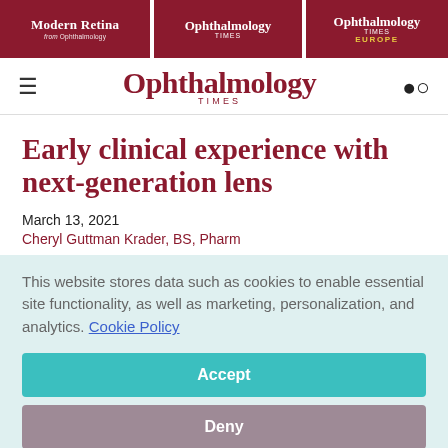Modern Retina | Ophthalmology Times | Ophthalmology Times Europe
[Figure (logo): Ophthalmology Times logo with hamburger menu and search icon]
Early clinical experience with next-generation lens
March 13, 2021
Cheryl Guttman Krader, BS, Pharm
This website stores data such as cookies to enable essential site functionality, as well as marketing, personalization, and analytics. Cookie Policy
Accept
Deny